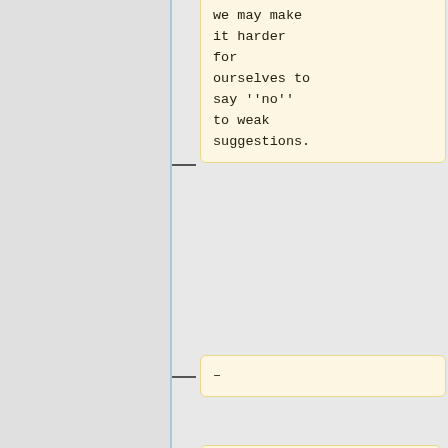we may make it harder for ourselves to say ''no'' to weak suggestions.
–
* Consider elaborating each entry with some rationale, including (as far as possible) links to literature and evidence.